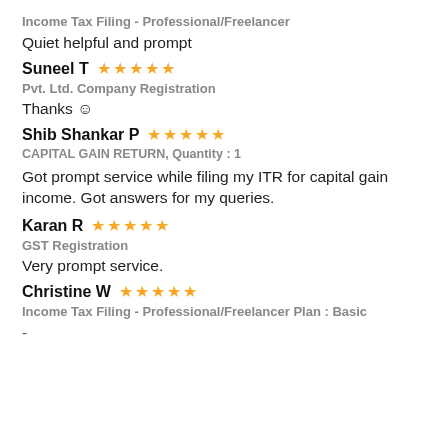Income Tax Filing - Professional/Freelancer
Quiet helpful and prompt
Suneel T ★★★★★
Pvt. Ltd. Company Registration
Thanks ☺
Shib Shankar P ★★★★★
CAPITAL GAIN RETURN, Quantity : 1
Got prompt service while filing my ITR for capital gain income. Got answers for my queries.
Karan R ★★★★★
GST Registration
Very prompt service.
Christine W ★★★★★
Income Tax Filing - Professional/Freelancer Plan : Basic
-